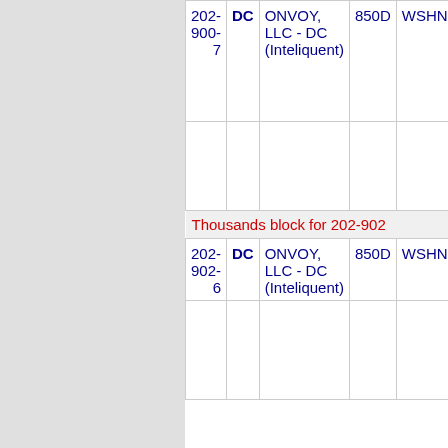| Number | State | Company | Zip | City |
| --- | --- | --- | --- | --- |
| 202-900-7 | DC | ONVOY, LLC - DC (Inteliquent) | 850D | WSHNGTN |
| Thousands block for 202-902 |  |  |  |  |
| 202-902-6 | DC | ONVOY, LLC - DC (Inteliquent) | 850D | WSHNGTN |